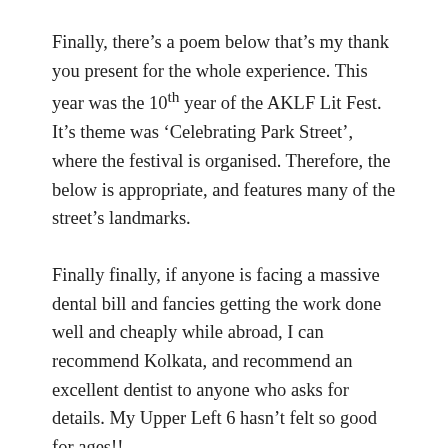Finally, there's a poem below that's my thank you present for the whole experience. This year was the 10th year of the AKLF Lit Fest. It's theme was 'Celebrating Park Street', where the festival is organised. Therefore, the below is appropriate, and features many of the street's landmarks.
Finally finally, if anyone is facing a massive dental bill and fancies getting the work done well and cheaply while abroad, I can recommend Kolkata, and recommend an excellent dentist to anyone who asks for details. My Upper Left 6 hasn't felt so good for ages!!